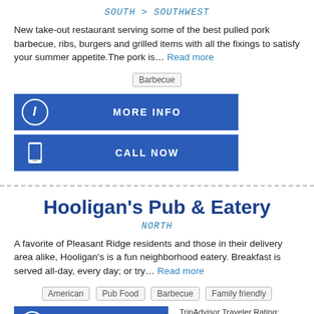SOUTH > SOUTHWEST
New take-out restaurant serving some of the best pulled pork barbecue, ribs, burgers and grilled items with all the fixings to satisfy your summer appetite.The pork is... Read more
Barbecue
MORE INFO
CALL NOW
Hooligan's Pub & Eatery
NORTH
A favorite of Pleasant Ridge residents and those in their delivery area alike, Hooligan's is a fun neighborhood eatery. Breakfast is served all-day, every day; or try... Read more
American  Pub Food  Barbecue  Family friendly
MORE INFO
TripAdvisor Traveler Rating: